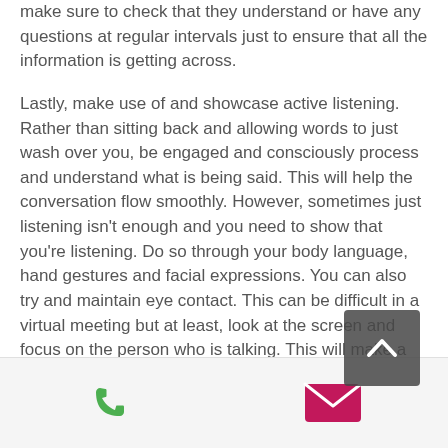make sure to check that they understand or have any questions at regular intervals just to ensure that all the information is getting across.
Lastly, make use of and showcase active listening. Rather than sitting back and allowing words to just wash over you, be engaged and consciously process and understand what is being said. This will help the conversation flow smoothly. However, sometimes just listening isn't enough and you need to show that you're listening. Do so through your body language, hand gestures and facial expressions. You can also try and maintain eye contact. This can be difficult in a virtual meeting but at least, look at the screen and focus on the person who is talking. This will make a world of difference in showing you're engaged
[Figure (other): Scroll-to-top button with upward chevron arrow on dark semi-transparent background]
[Figure (other): Footer bar with phone icon (green) and email/envelope icon (magenta/pink)]